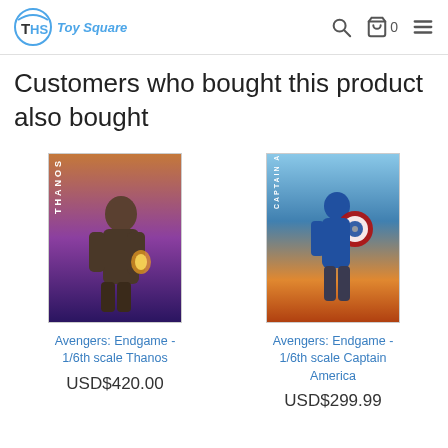THS Toy Square
Customers who bought this product also bought
[Figure (photo): Thanos 1/6th scale action figure from Avengers: Endgame, armored pose with gauntlet]
Avengers: Endgame - 1/6th scale Thanos
USD$420.00
[Figure (photo): Captain America 1/6th scale action figure from Avengers: Endgame, running pose with shield]
Avengers: Endgame - 1/6th scale Captain America
USD$299.99